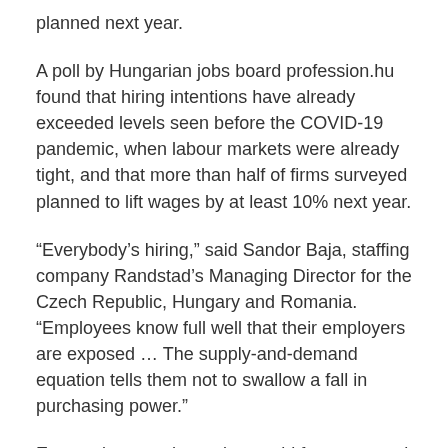planned next year.
A poll by Hungarian jobs board profession.hu found that hiring intentions have already exceeded levels seen before the COVID-19 pandemic, when labour markets were already tight, and that more than half of firms surveyed planned to lift wages by at least 10% next year.
“Everybody’s hiring,” said Sandor Baja, staffing company Randstad’s Managing Director for the Czech Republic, Hungary and Romania. “Employees know full well that their employers are exposed … The supply-and-demand equation tells them not to swallow a fall in purchasing power.”
Economists say the region could face renewed bouts of wage-price instability during a period of heightened...